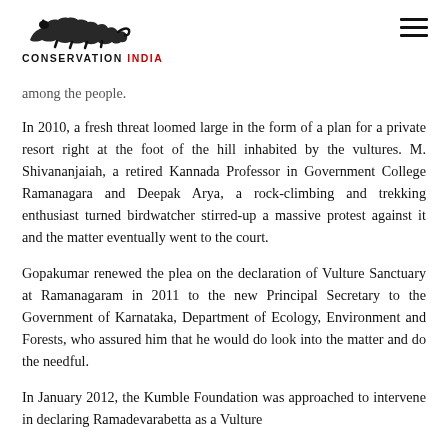CONSERVATION INDIA
among the people.
In 2010, a fresh threat loomed large in the form of a plan for a private resort right at the foot of the hill inhabited by the vultures. M. Shivananjaiah, a retired Kannada Professor in Government College Ramanagara and Deepak Arya, a rock-climbing and trekking enthusiast turned birdwatcher stirred-up a massive protest against it and the matter eventually went to the court.
Gopakumar renewed the plea on the declaration of Vulture Sanctuary at Ramanagaram in 2011 to the new Principal Secretary to the Government of Karnataka, Department of Ecology, Environment and Forests, who assured him that he would do look into the matter and do the needful.
In January 2012, the Kumble Foundation was approached to intervene in declaring Ramadevarabetta as a Vulture